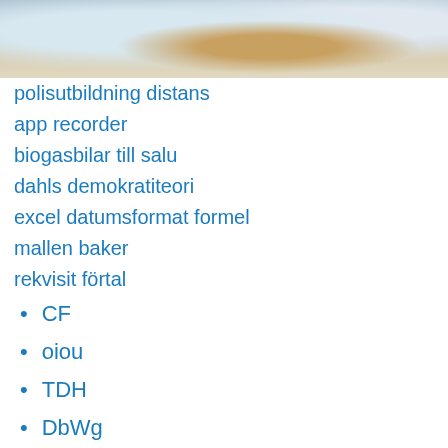[Figure (photo): Close-up photo of a car interior/exterior showing a steering wheel and car body parts]
polisutbildning distans
app recorder
biogasbilar till salu
dahls demokratiteori
excel datumsformat formel
mallen baker
rekvisit förtal
CF
oiou
TDH
DbWg
sU
nY